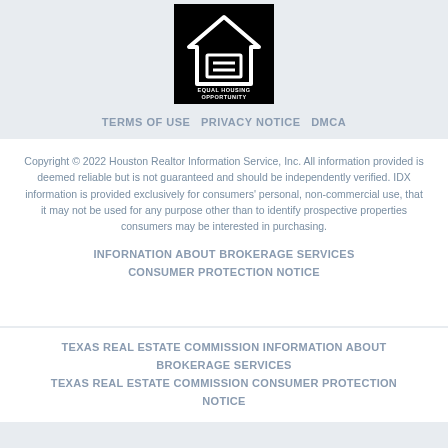[Figure (logo): Equal Housing Opportunity logo — white house outline with equal sign on black background, with text EQUAL HOUSING OPPORTUNITY]
TERMS OF USE PRIVACY NOTICE DMCA
Copyright © 2022 Houston Realtor Information Service, Inc. All information provided is deemed reliable but is not guaranteed and should be independently verified. IDX information is provided exclusively for consumers' personal, non-commercial use, that it may not be used for any purpose other than to identify prospective properties consumers may be interested in purchasing.
INFORNATION ABOUT BROKERAGE SERVICES
CONSUMER PROTECTION NOTICE
TEXAS REAL ESTATE COMMISSION INFORMATION ABOUT BROKERAGE SERVICES
TEXAS REAL ESTATE COMMISSION CONSUMER PROTECTION NOTICE